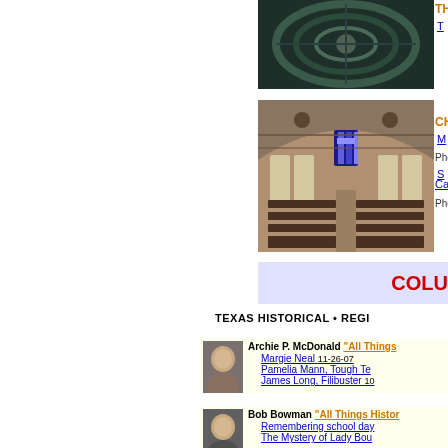[Figure (photo): Dark circular dome/architectural detail photo]
[Figure (photo): Church interior with wooden pews, stained glass cross window, arched ceiling]
THE (truncated)
T (truncated link)
CHU (truncated)
M (truncated link)
Photos:
S (truncated link) Cas (truncated)
Photos:
COLU (truncated)
TEXAS HISTORICAL • REGI (truncated)
Archie P. McDonald "All Things (truncated)"
Margie Neal 11-26-07
Pamelia Mann, Tough Te (truncated)
James Long, Filibuster 10 (truncated)
Bob Bowman "All Things Histor (truncated)"
Remembering school day (truncated)
The Mystery of Lady Bou (truncated)
Murray Montgomery "Lone Star (truncated)"
A time to honor our milita (truncated)